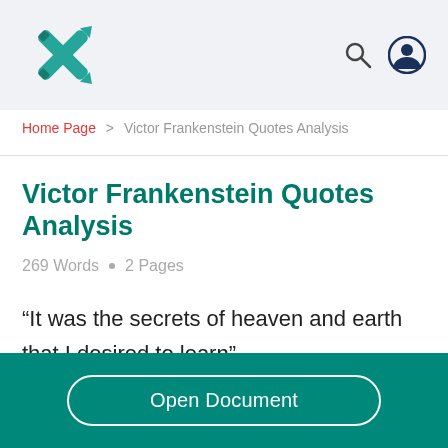Home Page > Victor Frankenstein Quotes Analysis
Victor Frankenstein Quotes Analysis
269 Words • 2 Pages
“It was the secrets of heaven and earth that I desired to learn”
Open Document